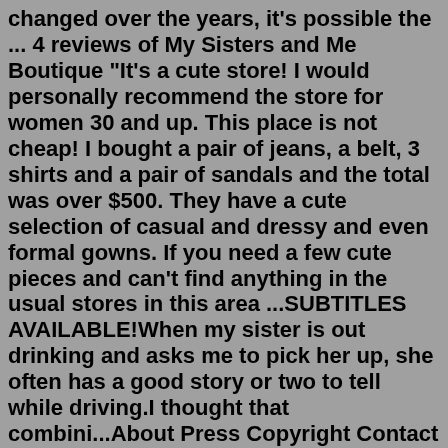changed over the years, it's possible the ... 4 reviews of My Sisters and Me Boutique "It's a cute store! I would personally recommend the store for women 30 and up. This place is not cheap! I bought a pair of jeans, a belt, 3 shirts and a pair of sandals and the total was over $500. They have a cute selection of casual and dressy and even formal gowns. If you need a few cute pieces and can't find anything in the usual stores in this area ...SUBTITLES AVAILABLE!When my sister is out drinking and asks me to pick her up, she often has a good story or two to tell while driving.I thought that combini...About Press Copyright Contact us Creators Advertise Developers Terms Privacy Policy & Safety How YouTube works Test new features Press Copyright Contact us Creators ... Mar 15, 2015 · Commented Jul 30, 2022 08:29 by anonymous. “My younger sister used to jump on me all the time to wrestle and one day she kept grabbing at my crotch, told she better quit or things might happen. I pulled her bottoms off and pinned her legs back then slowly licked her pussy to